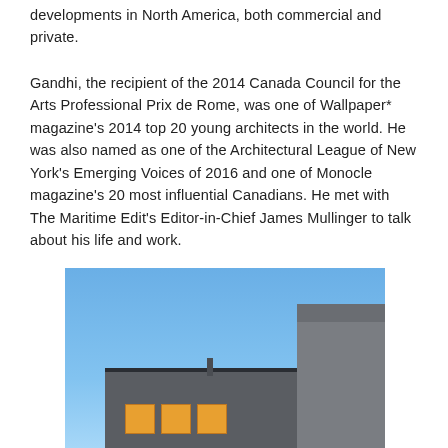developments in North America, both commercial and private.
Gandhi, the recipient of the 2014 Canada Council for the Arts Professional Prix de Rome, was one of Wallpaper* magazine's 2014 top 20 young architects in the world. He was also named as one of the Architectural League of New York's Emerging Voices of 2016 and one of Monocle magazine's 20 most influential Canadians. He met with The Maritime Edit's Editor-in-Chief James Mullinger to talk about his life and work.
[Figure (photo): Exterior photograph of modern residential architecture showing two dark grey building volumes against a clear blue sky, with warm yellow window light visible on the lower left structure.]